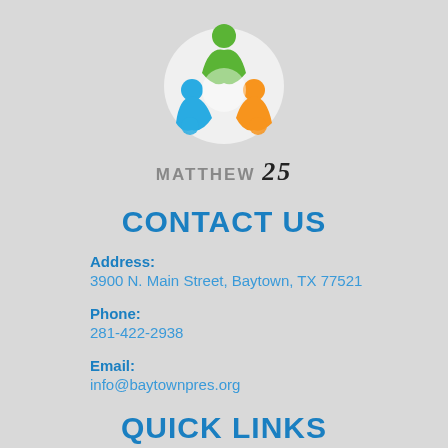[Figure (logo): Matthew 25 logo with colorful people figures (green, blue, orange) arranged in a circle, above the text MATTHEW 25]
CONTACT US
Address:
3900 N. Main Street, Baytown, TX 77521
Phone:
281-422-2938
Email:
info@baytownpres.org
QUICK LINKS